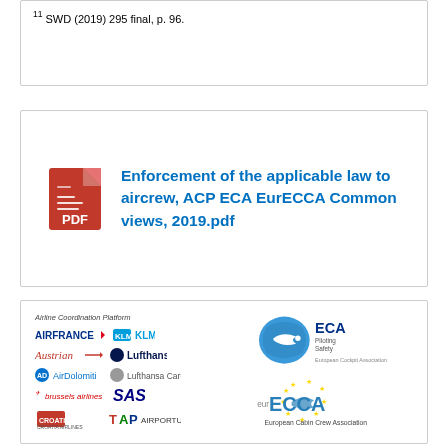11 SWD (2019) 295 final, p. 96.
Enforcement of the applicable law to aircrew, ACP ECA EurECCA Common views, 2019.pdf
[Figure (logo): ACP (Airline Coordination Platform) logos panel: Air France, KLM, Austrian, Lufthansa, Air Dolomiti, Lufthansa Cargo, Brussels Airlines, SAS, Croatia Airlines, TAP Air Portugal. ECA (European Cockpit Association) logo. EurECCA (European Cabin Crew Association) logo.]